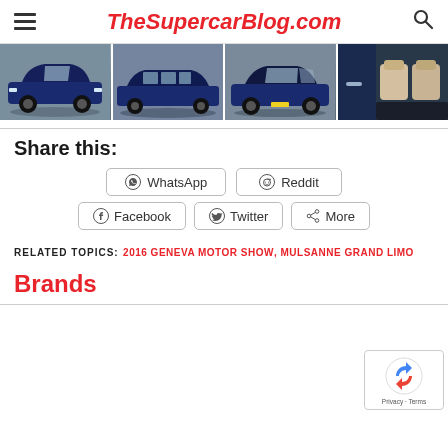TheSupercarBlog.com
[Figure (photo): Four side-by-side photos of luxury blue limousines/cars including exterior and interior views]
Share this:
WhatsApp
Reddit
Facebook
Twitter
More
RELATED TOPICS: 2016 GENEVA MOTOR SHOW, MULSANNE GRAND LIMO
Brands